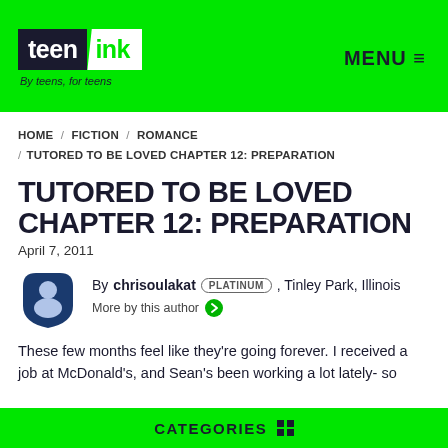[Figure (logo): Teen Ink logo with black background for 'teen' and white background for 'ink' in green color, on a bright green header bar. Tagline: By teens, for teens]
MENU ≡
HOME / FICTION / ROMANCE / TUTORED TO BE LOVED CHAPTER 12: PREPARATION
TUTORED TO BE LOVED CHAPTER 12: PREPARATION
April 7, 2011
By chrisoulakat PLATINUM, Tinley Park, Illinois
More by this author →
These few months feel like they're going forever. I received a job at McDonald's, and Sean's been working a lot lately- so
CATEGORIES ⊞